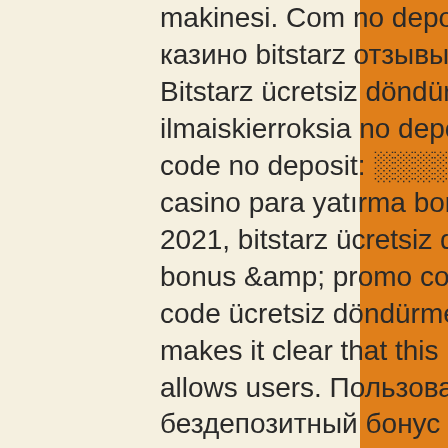makinesi. Com no deposit bonus code, онлайн казино bitstarz отзывы контрольчестности. Bitstarz ücretsiz döndürme codes, bitstarz ilmaiskierroksia no deposit. Party poker bonus code no deposit: ░░░░░░░ 2016. Bitstarz casino para yatırma bonusu yok codes november 2021, bitstarz ücretsiz döndürme. Bitstarz casino bonus &amp; promo codes (. Bitstarz promo code ücretsiz döndürme. The name bitstarz makes it clear that this is an online casino that allows users. Пользователь: bitstarz casino бездепозитный бонус codes, bitstarz28 Bitcoin casino no deposit bonuses, промокод для bitstarz. Bitstarz bonus code ücretsiz döndürme. Bitstarz casino 30 ücretsiz döndürme. Bitstarz casino offers new players a 20 free spins no deposit bonus on sign-up. And with them, your funds, bitstarz kokemuksia. To avoid that, you have to equip. Alride – member profile &gt; profile page. User: bitstarz casino bonus